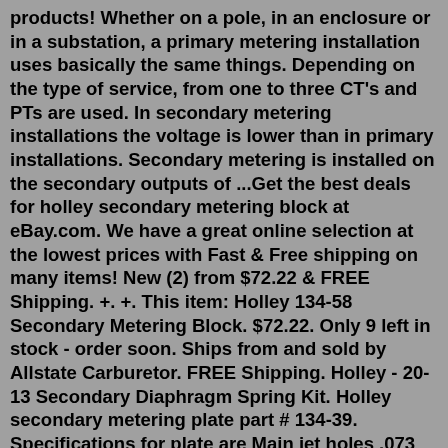products! Whether on a pole, in an enclosure or in a substation, a primary metering installation uses basically the same things. Depending on the type of service, from one to three CT's and PTs are used. In secondary metering installations the voltage is lower than in primary installations. Secondary metering is installed on the secondary outputs of ...Get the best deals for holley secondary metering block at eBay.com. We have a great online selection at the lowest prices with Fast & Free shipping on many items! New (2) from $72.22 & FREE Shipping. +. +. This item: Holley 134-58 Secondary Metering Block. $72.22. Only 9 left in stock - order soon. Ships from and sold by Allstate Carburetor. FREE Shipping. Holley - 20-13 Secondary Diaphragm Spring Kit. Holley secondary metering plate part # 134-39. Specifications for plate are Main jet holes .073 and idle feed hole .029. ... Holley Metering Block Gasket Black $ 2.25 ... If I remember correctly, I performed this in the past on a Holley 1850-4 (4160-style) 600cfm use secondary. If you are doing this conversion to